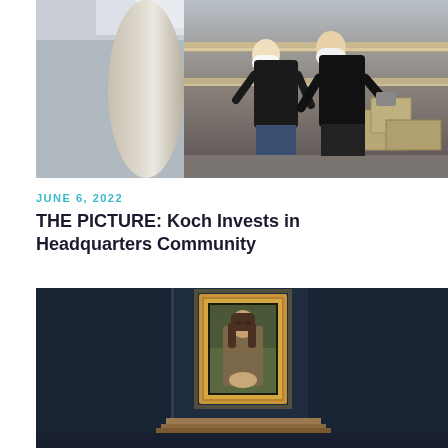[Figure (photo): Two workers in hard hats standing inside a large building under construction with multi-level balconies and a circular column]
JUNE 6, 2022
THE PICTURE: Koch Invests in Headquarters Community
[Figure (photo): Mona Lisa painting displayed on a dark navy blue wall in a museum setting, with a wooden bench in front]